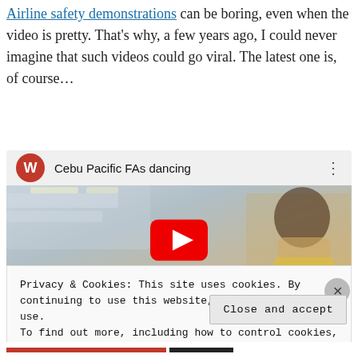Airline safety demonstrations can be boring, even when the video is pretty. That's why, a few years ago, I could never imagine that such videos could go viral. The latest one is, of course…
[Figure (screenshot): YouTube video thumbnail showing 'Cebu Pacific FAs dancing' with a red play button overlay, showing a flight attendant inside an airplane cabin. Video player interface with channel avatar 'W' in red circle.]
Privacy & Cookies: This site uses cookies. By continuing to use this website, you agree to their use.
To find out more, including how to control cookies, see here: Cookie Policy
Close and accept